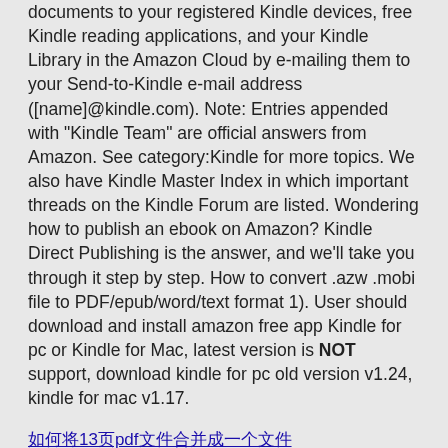documents to your registered Kindle devices, free Kindle reading applications, and your Kindle Library in the Amazon Cloud by e-mailing them to your Send-to-Kindle e-mail address ([name]@kindle.com). Note: Entries appended with "Kindle Team" are official answers from Amazon. See category:Kindle for more topics. We also have Kindle Master Index in which important threads on the Kindle Forum are listed. Wondering how to publish an ebook on Amazon? Kindle Direct Publishing is the answer, and we'll take you through it step by step. How to convert .azw .mobi file to PDF/epub/word/text format 1). User should download and install amazon free app Kindle for pc or Kindle for Mac, latest version is NOT support, download kindle for pc old version v1.24, kindle for mac v1.17.
如何将13页pdf文件合并成一个文件
如何将多个pdf文件合并成一个
Android手机用Torrent下载的电影，如何传到电视上看